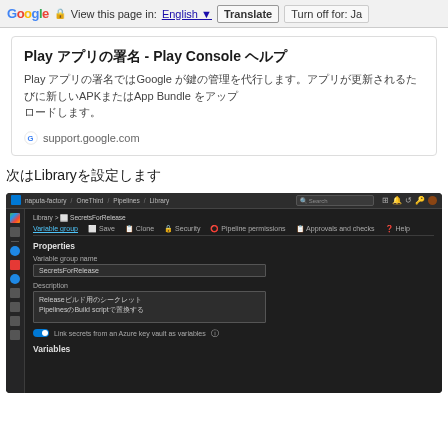Google  View this page in: English  Translate  Turn off for: Ja
Play アプリの署名 - Play Console ヘルプ
Play アプリの署名ではGoogle が鍵の管理を代行します。アプリが更新されるたびに新しいAPKまたはApp Bundle をアップ ロードします。
support.google.com
次はLibraryを設定します
[Figure (screenshot): Azure DevOps screenshot showing Library > SecretsForRelease variable group with Properties section. Shows Variable group name field with 'SecretsForRelease', Description field with Japanese text about release secrets and pipelines, a toggle for linking secrets from Azure key vault, and Variables section.]